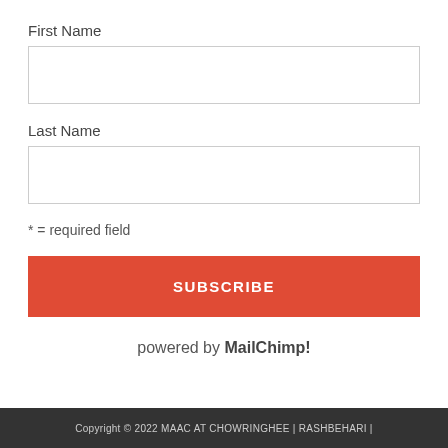First Name
[Figure (other): Empty text input box for First Name]
Last Name
[Figure (other): Empty text input box for Last Name]
* = required field
SUBSCRIBE
powered by MailChimp!
Copyright © 2022 MAAC AT CHOWRINGHEE | RASHBEHARI |